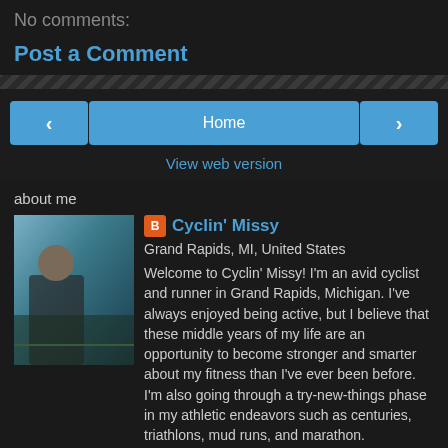No comments:
Post a Comment
Home
View web version
about me
[Figure (photo): Profile photo of Cyclin' Missy outdoors]
Cyclin' Missy
Grand Rapids, MI, United States
Welcome to Cyclin' Missy! I'm an avid cyclist and runner in Grand Rapids, Michigan. I've always enjoyed being active, but I believe that these middle years of my life are an opportunity to become stronger and smarter about my fitness than I've ever been before. I'm also going through a try-new-things phase in my athletic endeavors such as centuries, triathlons, mud runs, and marathon.
View my complete profile